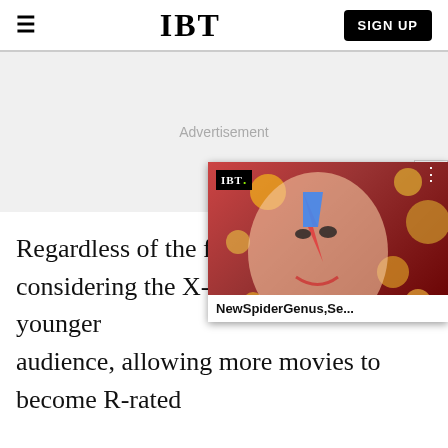IBT — SIGN UP
[Figure (screenshot): Advertisement placeholder area with grey background]
[Figure (screenshot): Overlay video widget showing IBT logo with colorful David Bowie-style illustrated face on red background, with title 'NewSpiderGenus,Se...' and close button X]
Regardless of the film's bac considering the X-Men's typically younger audience, allowing more movies to become R-rated